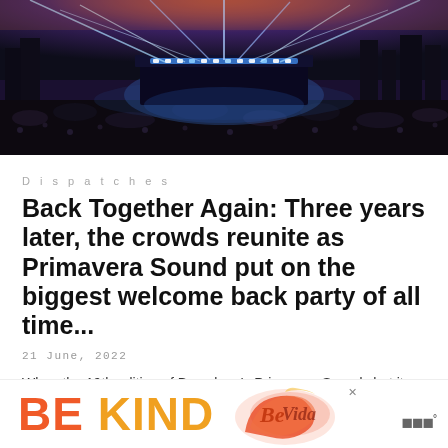[Figure (photo): Concert crowd at night with colorful stage lights and laser beams shooting into the sky, large outdoor festival venue]
Dispatches
Back Together Again: Three years later, the crowds reunite as Primavera Sound put on the biggest welcome back party of all time...
21 June, 2022
When the 19th edition of Barcelona's Primavera Sound shut its gates on 1 June 2019, the world was a very different place. The next two summers would pass with hopes raised and then hopes dashed; tumultuous ups and downs and world had quickly grown...
[Figure (advertisement): BE KIND advertisement with orange and yellow text and decorative script logo element, with a close button and brand logo]